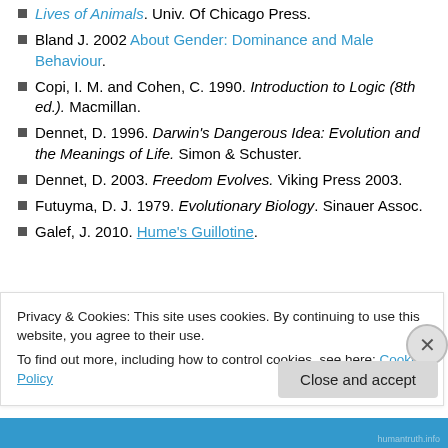Lives of Animals. Univ. Of Chicago Press.
Bland J. 2002 About Gender: Dominance and Male Behaviour.
Copi, I. M. and Cohen, C. 1990. Introduction to Logic (8th ed.). Macmillan.
Dennet, D. 1996. Darwin's Dangerous Idea: Evolution and the Meanings of Life. Simon & Schuster.
Dennet, D. 2003. Freedom Evolves. Viking Press 2003.
Futuyma, D. J. 1979. Evolutionary Biology. Sinauer Assoc.
Galef, J. 2010. Hume's Guillotine.
Privacy & Cookies: This site uses cookies. By continuing to use this website, you agree to their use. To find out more, including how to control cookies, see here: Cookie Policy
Close and accept